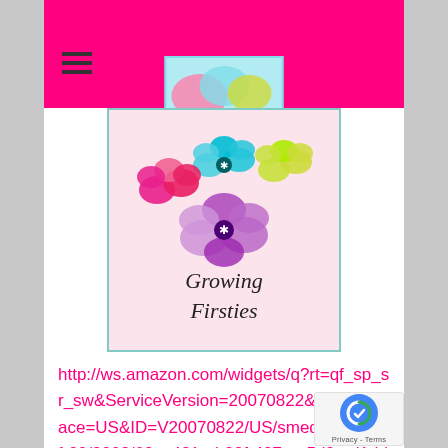[Figure (logo): Hot pink navigation bar with hamburger menu icon and partial logo at top]
[Figure (illustration): Growing Firsties logo with colorful dahlia flowers (pink, teal, purple, yellow-green) and cursive text reading 'Growing Firsties' on a light pink background]
http://ws.amazon.com/widgets/q?rt=qf_sp_sr_sw&ServiceVersion=20070822&MarketPlace=US&ID=V20070822/US/smedlssmorgof-20/8002/63ca421e-b38f-427e-a5d9-ad1dd2d8d21c Amazon.com Widgets a Rafflecopter giveaway//d12vno17mo87cx.cloudfront.net/embed/rafl/cptr.js
[Figure (logo): reCAPTCHA Privacy - Terms badge in bottom right corner]